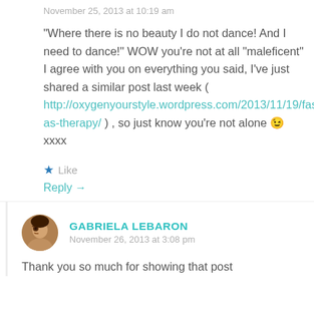November 25, 2013 at 10:19 am
"Where there is no beauty I do not dance! And I need to dance!" WOW you're not at all "maleficent" I agree with you on everything you said, I've just shared a similar post last week ( http://oxygenyourstyle.wordpress.com/2013/11/19/fashion-as-therapy/ ) , so just know you're not alone 😉 xxxx
★ Like
Reply →
GABRIELA LEBARON
November 26, 2013 at 3:08 pm
Thank you so much for showing that post